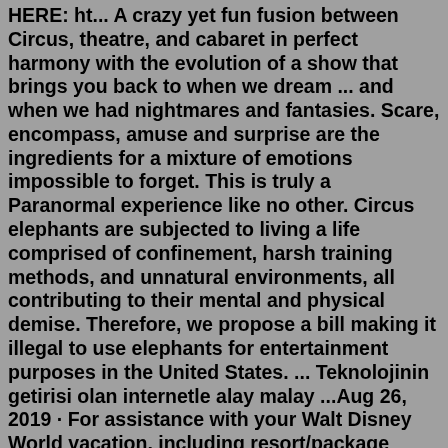HERE: ht... A crazy yet fun fusion between Circus, theatre, and cabaret in perfect harmony with the evolution of a show that brings you back to when we dream ... and when we had nightmares and fantasies. Scare, encompass, amuse and surprise are the ingredients for a mixture of emotions impossible to forget. This is truly a Paranormal experience like no other. Circus elephants are subjected to living a life comprised of confinement, harsh training methods, and unnatural environments, all contributing to their mental and physical demise. Therefore, we propose a bill making it illegal to use elephants for entertainment purposes in the United States. ... Teknolojinin getirisi olan internetle alay malay ...Aug 26, 2019 · For assistance with your Walt Disney World vacation, including resort/package bookings and tickets, please call (407) 939-5277. For Walt Disney World dining, please book your reservation online. 7:00 AM to 11:00 PM Eastern Time. Guests under 18 years of age must have parent or guardian permission to call. 3662 W. Camp Wisdom Rd., Dallas, TX 23502